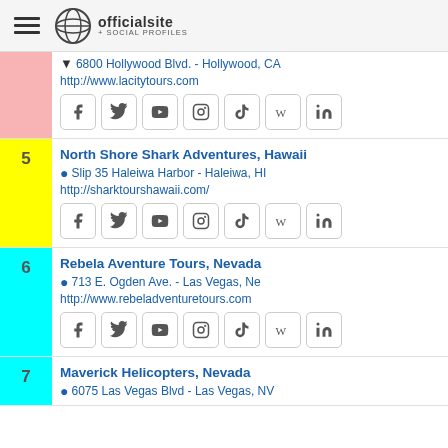officialsite + social profiles
6800 Hollywood Blvd. - Hollywood, CA
http://www.lacitytours.com
[Figure (other): Social media icon buttons: Facebook, Twitter, YouTube, Instagram, TikTok, Wikipedia, LinkedIn]
5 North Shore Shark Adventures, Hawaii
Slip 35 Haleiwa Harbor - Haleiwa, HI
http://sharktourshawaii.com/
[Figure (other): Social media icon buttons: Facebook, Twitter, YouTube, Instagram, TikTok, Wikipedia, LinkedIn]
6 Rebela Aventure Tours, Nevada
713 E. Ogden Ave. - Las Vegas, Ne
http://www.rebeladventuretours.com
[Figure (other): Social media icon buttons: Facebook, Twitter, YouTube, Instagram, TikTok, Wikipedia, LinkedIn]
7 Maverick Helicopters, Nevada
6075 Las Vegas Blvd - Las Vegas, NV